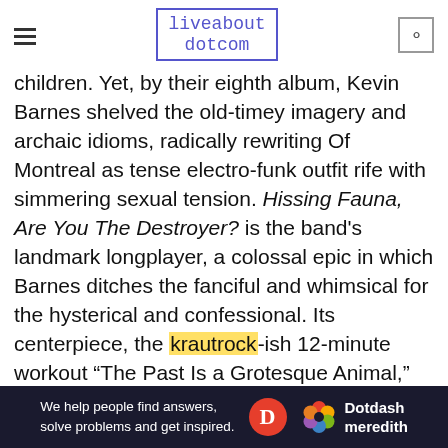liveabout dotcom
children. Yet, by their eighth album, Kevin Barnes shelved the old-timey imagery and archaic idioms, radically rewriting Of Montreal as tense electro-funk outfit rife with simmering sexual tension. Hissing Fauna, Are You The Destroyer? is the band's landmark longplayer, a colossal epic in which Barnes ditches the fanciful and whimsical for the hysterical and confessional. Its centerpiece, the krautrock-ish 12-minute workout “The Past Is a Grotesque Animal,” finds him rambling in free-association, his ever-increasing agitation making it seem like so much psychotherapy. It’s neurosis on
[Figure (other): Dotdash Meredith advertisement banner: 'We help people find answers, solve problems and get inspired.' with Dotdash Meredith logo on dark navy background]